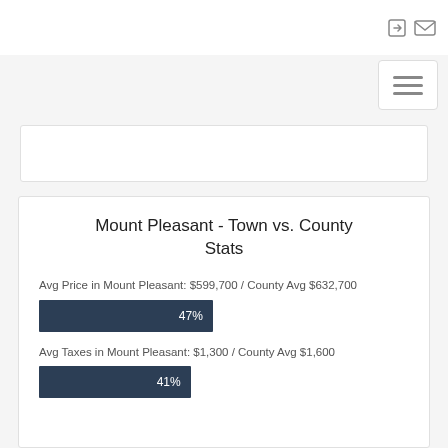Navigation icons and hamburger menu
Mount Pleasant - Town vs. County Stats
Avg Price in Mount Pleasant: $599,700 / County Avg $632,700
[Figure (bar-chart): Avg Price percentage]
Avg Taxes in Mount Pleasant: $1,300 / County Avg $1,600
[Figure (bar-chart): Avg Taxes percentage]